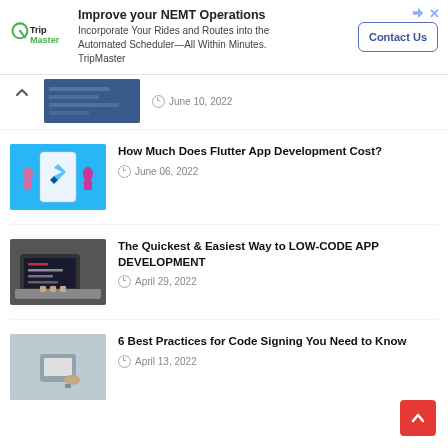[Figure (screenshot): TripMaster advertisement banner with logo, headline 'Improve your NEMT Operations', description text, and Contact Us button]
June 10, 2022
How Much Does Flutter App Development Cost? — June 06, 2022
The Quickest & Easiest Way to LOW-CODE APP DEVELOPMENT — April 29, 2022
6 Best Practices for Code Signing You Need to Know — April 13, 2022